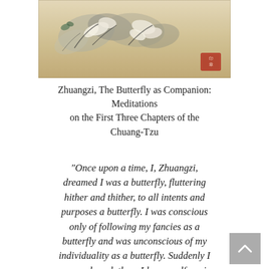[Figure (illustration): A traditional East Asian ink painting showing butterflies or insects among flowers, with an aged beige/cream background and a red seal stamp in the lower right corner.]
Zhuangzi, The Butterfly as Companion: Meditations on the First Three Chapters of the Chuang-Tzu
“Once upon a time, I, Zhuangzi, dreamed I was a butterfly, fluttering hither and thither, to all intents and purposes a butterfly. I was conscious only of following my fancies as a butterfly and was unconscious of my individuality as a butterfly. Suddenly I was awakened, there I lay myself again. Now I do not know whether I was a man dreaming I was a butterfly, or whether I